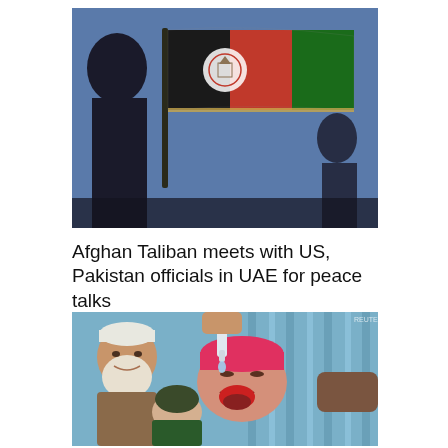[Figure (photo): Silhouetted figure holding an Afghan flag (black, red, green with white emblem) against a blue sky background]
Afghan Taliban meets with US, Pakistan officials in UAE for peace talks
[Figure (photo): An elderly man with white beard holds a young child while a healthcare worker administers oral polio vaccine drops to the child who is wearing a pink cap]